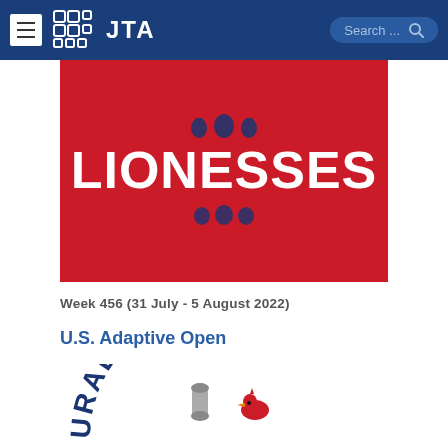JTA
[Figure (photo): Red background image with large white bold text 'LIONESSES' and decorative England three lions crest emblems above and below]
Week 456 (31 July - 5 August 2022)
U.S. Adaptive Open
[Figure (logo): Circular logo text 'URAL U.S. ADAPTI' in dark blue arc letters with a cardinal bird and golf/sports equipment illustration partially visible]